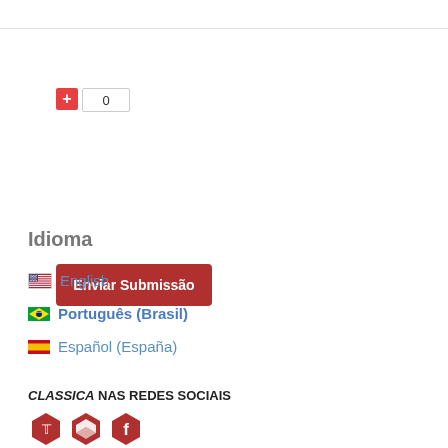[Figure (other): Plus button with count box showing 0]
[Figure (other): Red 'Enviar Submissão' submit button]
Idioma
English
Português (Brasil)
Español (España)
CLASSICA NAS REDES SOCIAIS
[Figure (other): Social media icons (Twitter, email/academic, Facebook) as red hexagons]